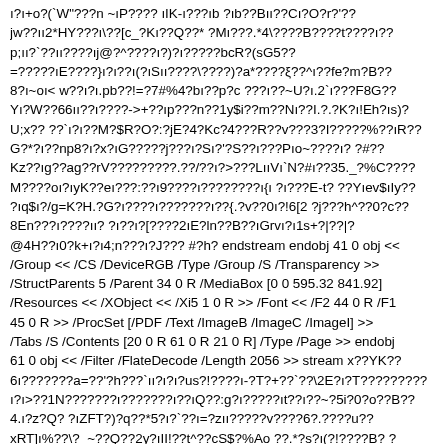ı?ı+o?(`W"???n ~ıP???? ıIK-ı???ıb ?ıb??Bıı??Cı?O?r?'?? jw??ıı2*HY???ı\??[c_?Kı??Q??* ?Mı???.*4\????B????t????ı?? p;ıı?`??ıı????ıj@?^????ı?)?ı?????bcR?(sG5?? =?????ıE????}ı?ı??ı(?ıSıı????\????)?a*????ξ??^ı??fe?m?B?? 8?ı~oı< w??ı?ı.pb??!=?7#%4?bı??p?c ???ı??~U?ı.2`ı???F8G?? Yı?W??66ıı??ı????->+??ıp???n??1y$i??m??Nı??I.?.?K?ı!Eh?ıs)? U;x?? ??`ı?ı??M?$R?O?:?jE?4?Kc?4???R??v???3?I?????%??ıR?? G?*?ı??np8?ı?x?ıG?????j???ı?Sı?'?S??ı???Pıo~????ı? ?#?? Kz??ıg??ag??rV?????????.??/??ı?>???LııVı`N?#ı??35._?%C???? M????oı?ıyK??eı???:??ı9????ı????????ı{ı ?ı???E-t? ??Yıev$ıIy?? ?ıq$ı?/g=K?H.?G?ı????ı???????ı??{.?v??0ı?!6[2 ?j???h^??0?c?? 8En???ı????ıı? ?ı??ı?[????2ıE?ln??B??ıGrvı?ı1s+?|??|? @4H??ı0?k+ı?ı4;n???ı?J??? #?h? endstream endobj 41 0 obj << /Group << /CS /DeviceRGB /Type /Group /S /Transparency >> /StructParents 5 /Parent 34 0 R /MediaBox [0 0 595.32 841.92] /Resources << /XObject << /Xi5 1 0 R >> /Font << /F2 44 0 R /F1 45 0 R >> /ProcSet [/PDF /Text /ImageB /ImageC /ImageI] >> /Tabs /S /Contents [20 0 R 61 0 R 21 0 R] /Type /Page >> endobj 61 0 obj << /Filter /FlateDecode /Length 2056 >> stream x??YK?? 6ı???????a=??'?h???`ıı?ı?ı?us?!????ı-?T?+??`??\2E?ı?T????????? ı?ı>??1N???????ı???????ı??ıQ??:g?ı?????ıt??ı??~?5i?0?o??B?? 4.ı?z?Q? ?ıZFT?)?q??*5?ı?`??ı=?zıı?????v????6?.????u?? xRT]ı%??\?_~??Q??2y?ıII!??t^??cS$?%Ao ??.*?s?ı(?!????B? ? CE??ıı?0lg??ıFTı??f??{ı?ı)?????wK??%Kıı????QDX?4ı/?ı3O?ı lı?;ı????ı??j?H?ı?ıı?dı?\ı??%??K?U???ı?ıXı?5??ı?MP??+>?5??